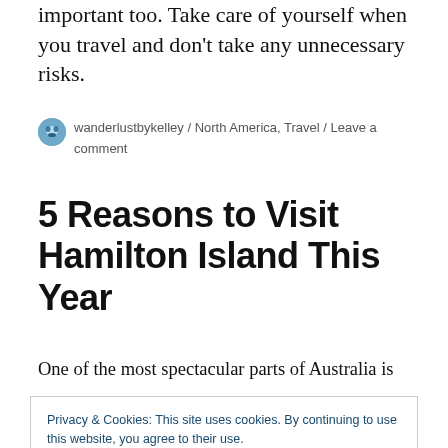important too. Take care of yourself when you travel and don't take any unnecessary risks.
wanderlustbykelley / North America, Travel / Leave a comment
5 Reasons to Visit Hamilton Island This Year
One of the most spectacular parts of Australia is
Privacy & Cookies: This site uses cookies. By continuing to use this website, you agree to their use.
To find out more, including how to control cookies, see here: Cookie Policy
Close and accept
trying to decide on the right country to visit